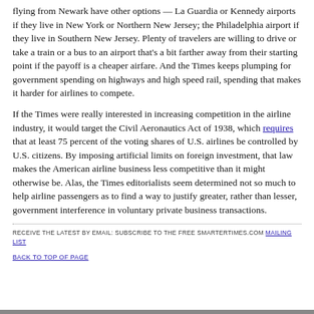flying from Newark have other options — La Guardia or Kennedy airports if they live in New York or Northern New Jersey; the Philadelphia airport if they live in Southern New Jersey. Plenty of travelers are willing to drive or take a train or a bus to an airport that's a bit farther away from their starting point if the payoff is a cheaper airfare. And the Times keeps plumping for government spending on highways and high speed rail, spending that makes it harder for airlines to compete.
If the Times were really interested in increasing competition in the airline industry, it would target the Civil Aeronautics Act of 1938, which requires that at least 75 percent of the voting shares of U.S. airlines be controlled by U.S. citizens. By imposing artificial limits on foreign investment, that law makes the American airline business less competitive than it might otherwise be. Alas, the Times editorialists seem determined not so much to help airline passengers as to find a way to justify greater, rather than lesser, government interference in voluntary private business transactions.
RECEIVE THE LATEST BY EMAIL: SUBSCRIBE TO THE FREE SMARTERTIMES.COM MAILING LIST
BACK TO TOP OF PAGE